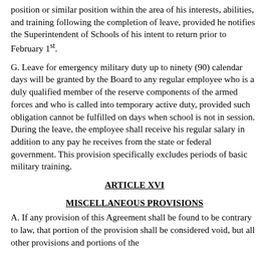position or similar position within the area of his interests, abilities, and training following the completion of leave, provided he notifies the Superintendent of Schools of his intent to return prior to February 1st.
G. Leave for emergency military duty up to ninety (90) calendar days will be granted by the Board to any regular employee who is a duly qualified member of the reserve components of the armed forces and who is called into temporary active duty, provided such obligation cannot be fulfilled on days when school is not in session. During the leave, the employee shall receive his regular salary in addition to any pay he receives from the state or federal government. This provision specifically excludes periods of basic military training.
ARTICLE XVI
MISCELLANEOUS PROVISIONS
A. If any provision of this Agreement shall be found to be contrary to law, that portion of the provision shall be considered void, but all other provisions and portions of the